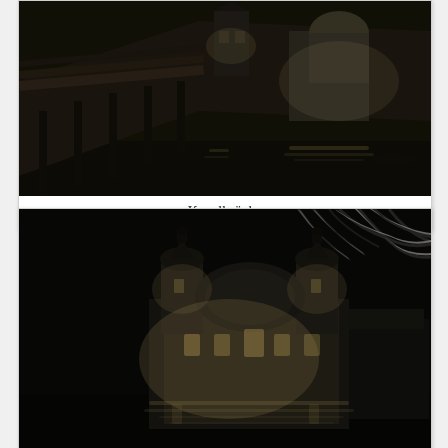[Figure (photo): Black and white night photograph of the Kapelbrücke (Chapel Bridge) in Lucerne, Switzerland. A long wooden covered bridge extends across dark water with reflections. A tower is visible mid-bridge and illuminated buildings including a domed church are visible in the background.]
Kapelbrücke
[Figure (photo): Black and white night photograph of an illuminated baroque church or Jesuit church in Lucerne, Switzerland. The building has twin towers with onion domes and a large central dome. Snow-covered branches are visible in the upper right. The building is reflected in dark water in the foreground.]